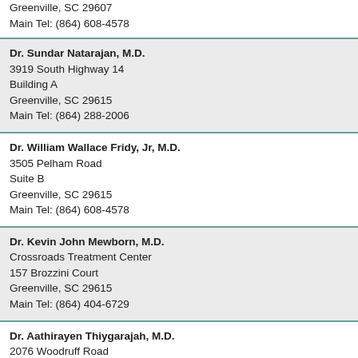Greenville, SC 29607
Main Tel: (864) 608-4578
Dr. Sundar Natarajan, M.D.
3919 South Highway 14
Building A
Greenville, SC 29615
Main Tel: (864) 288-2006
Dr. William Wallace Fridy, Jr, M.D.
3505 Pelham Road
Suite B
Greenville, SC 29615
Main Tel: (864) 608-4578
Dr. Kevin John Mewborn, M.D.
Crossroads Treatment Center
157 Brozzini Court
Greenville, SC 29615
Main Tel: (864) 404-6729
Dr. Aathirayen Thiygarajah, M.D.
2076 Woodruff Road
Suite B
Greenville, SC 29607